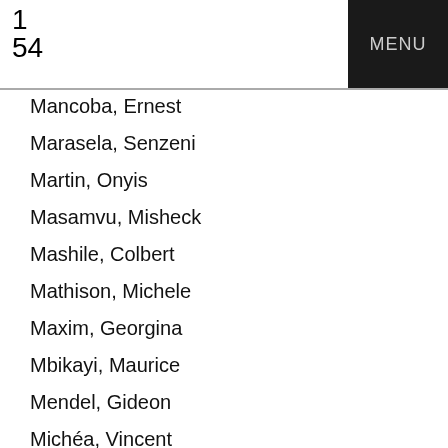1
54
MENU
Mancoba, Ernest
Marasela, Senzeni
Martin, Onyis
Masamvu, Misheck
Mashile, Colbert
Mathison, Michele
Maxim, Georgina
Mbikayi, Maurice
Mendel, Gideon
Michéa, Vincent
Mika, JP
Modisakeng, Mohau
Monteiro, Fabrice
Moschetti, Jean-Claude
Mudariki, Richard
Mudaulane, Celestino